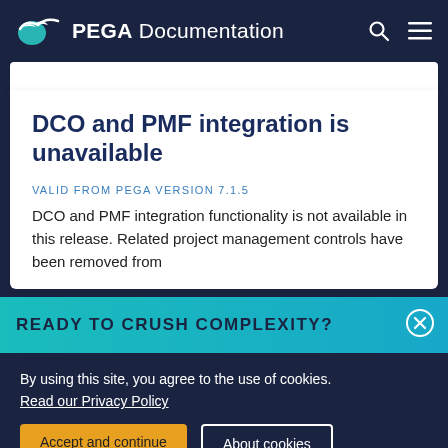PEGA Documentation
DCO and PMF integration is unavailable
VALID FROM PEGA VERSION 7.1.5
DCO and PMF integration functionality is not available in this release. Related project management controls have been removed from
READY TO CRUSH COMPLEXITY?
By using this site, you agree to the use of cookies.
Read our Privacy Policy
Accept and continue
About cookies